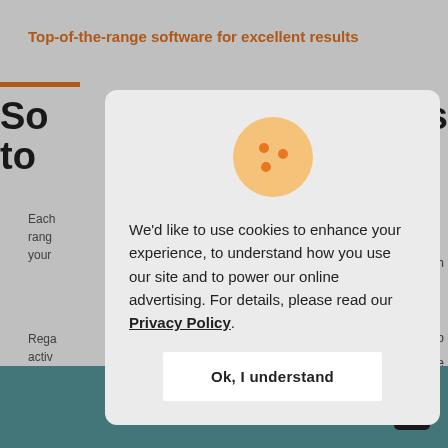Top-of-the-range software for excellent results
So... ts to
Each rang your
Rega activ for y
[Figure (screenshot): Cookie consent modal dialog with a cookie icon, text about using cookies, and an 'Ok, I understand' button]
We'd like to use cookies to enhance your experience, to understand how you use our site and to power our online advertising. For details, please read our Privacy Policy.
Ok, I understand